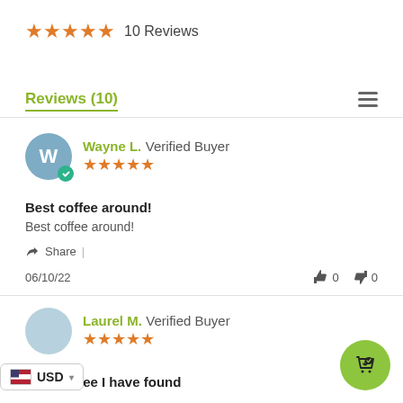★★★★★  10 Reviews
Reviews (10)
Wayne L.  Verified Buyer
★★★★★
Best coffee around!
Best coffee around!
Share |
06/10/22   👍 0   👎 0
Laurel M.  Verified Buyer
★★★★★
Best coffee I have found